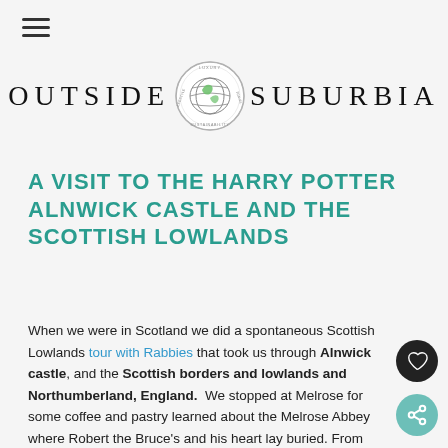[Figure (logo): Outside Suburbia logo with circular emblem showing globe and text LUXURY, TRAVEL, SUSTAINABILITY]
A VISIT TO THE HARRY POTTER ALNWICK CASTLE AND THE SCOTTISH LOWLANDS
When we were in Scotland we did a spontaneous Scottish Lowlands tour with Rabbies that took us through Alnwick castle, and the Scottish borders and lowlands and Northumberland, England. We stopped at Melrose for some coffee and pastry learned about the Melrose Abbey where Robert the Bruce's and his heart lay buried. From there we